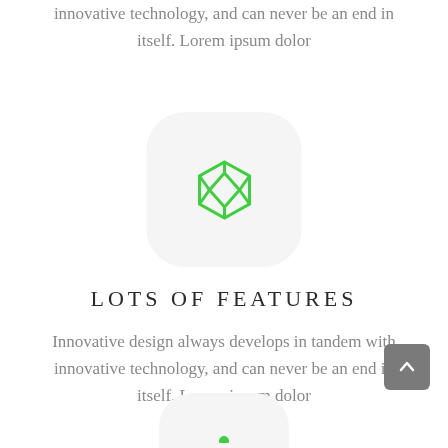innovative technology, and can never be an end in itself. Lorem ipsum dolor
[Figure (illustration): Rounded square icon with a green geometric diamond/cube logo (CodePen-style icon) on a light gray background]
LOTS OF FEATURES
Innovative design always develops in tandem with innovative technology, and can never be an end in itself. Lorem ipsum dolor
[Figure (illustration): Partially visible rounded square icon at the bottom of the page on a light gray background with a small green icon]